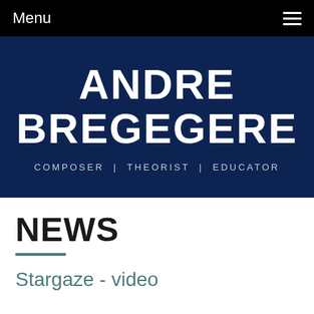Menu
ANDRE BREGEGERE
COMPOSER | THEORIST | EDUCATOR
NEWS
Stargaze - video